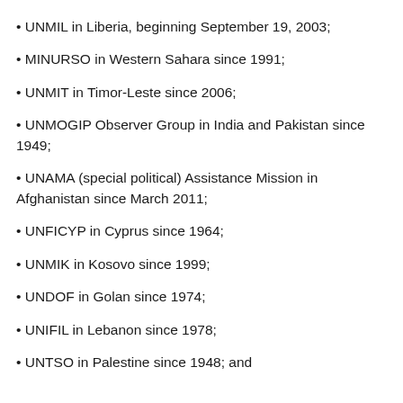UNMIL in Liberia, beginning September 19, 2003;
MINURSO in Western Sahara since 1991;
UNMIT in Timor-Leste since 2006;
UNMOGIP Observer Group in India and Pakistan since 1949;
UNAMA (special political) Assistance Mission in Afghanistan since March 2011;
UNFICYP in Cyprus since 1964;
UNMIK in Kosovo since 1999;
UNDOF in Golan since 1974;
UNIFIL in Lebanon since 1978;
UNTSO in Palestine since 1948; and